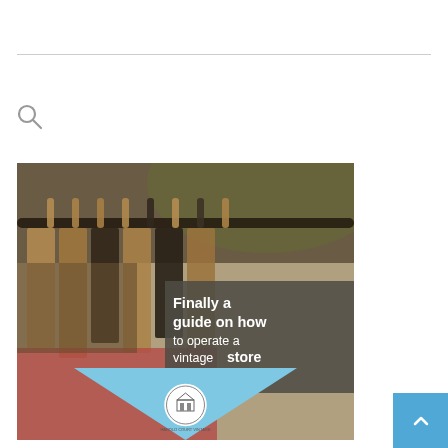[Figure (other): Horizontal rule divider line near top of page]
[Figure (other): Search icon (magnifying glass)]
[Figure (photo): Photo of vintage clothing hanging on racks with wooden and metal hangers, with a dark semi-transparent overlay box containing text: 'Finally a guide on how to operate a vintage store', and a light blue triangle with a circular seal/logo at the bottom center of the image]
[Figure (other): Blue back-to-top button with upward arrow chevron in bottom right]